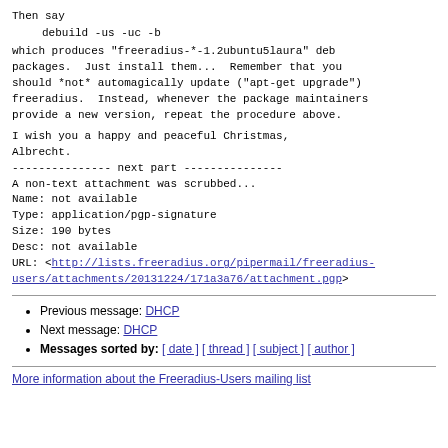Then say
debuild -us -uc -b
which produces "freeradius-*-1.2ubuntu5laura" deb packages.  Just install them...  Remember that you should *not* automagically update ("apt-get upgrade") freeradius.  Instead, whenever the package maintainers provide a new version, repeat the procedure above.
I wish you a happy and peaceful Christmas,
Albrecht.
--------------- next part ---------------
A non-text attachment was scrubbed...
Name: not available
Type: application/pgp-signature
Size: 190 bytes
Desc: not available
URL: <http://lists.freeradius.org/pipermail/freeradius-users/attachments/20131224/171a3a76/attachment.pgp>
Previous message: DHCP
Next message: DHCP
Messages sorted by: [ date ] [ thread ] [ subject ] [ author ]
More information about the Freeradius-Users mailing list